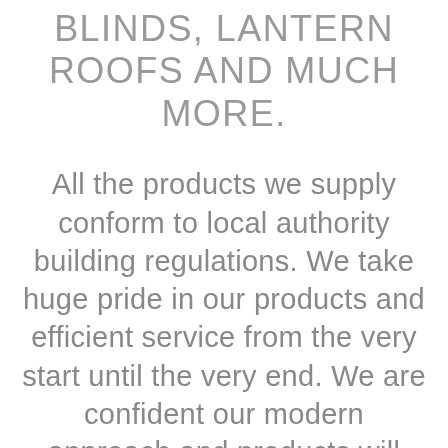BLINDS, LANTERN ROOFS AND MUCH MORE.
All the products we supply conform to local authority building regulations. We take huge pride in our products and efficient service from the very start until the very end. We are confident our modern approach and products will